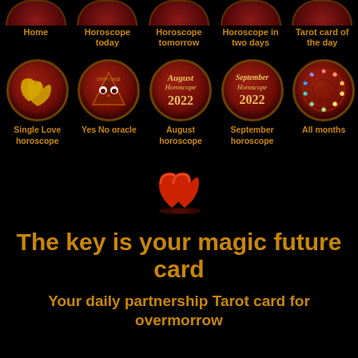[Figure (screenshot): Navigation bar with dark red rounded button icons partially visible at top: Home, Horoscope today, Horoscope tomorrow, Horoscope in two days, Tarot card of the day]
Home
Horoscope today
Horoscope tomorrow
Horoscope in two days
Tarot card of the day
[Figure (illustration): Row of five circular dark red icon buttons: Single Love horoscope (two golden hearts), Yes No oracle (owl), August horoscope 2022 (text), September horoscope 2022 (text), All months (zodiac wheel)]
Single Love horoscope
Yes No oracle
August horoscope
September horoscope
All months
[Figure (illustration): Two red heart emoji symbols centered on black background]
The key is your magic future card
Your daily partnership Tarot card for overmorrow